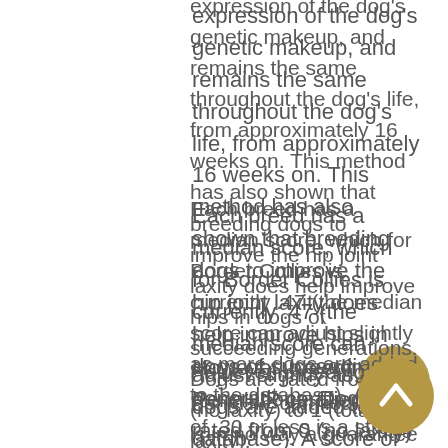expression of the dog's genetic makeup, and remains the same throughout the dog's life, from approximately 16 weeks on. This method has also shown that breeding dogs to improve the hip joint laxity does help improve hips in dogs of succeeding generations. Dogs are rated from 0 (no laxity) to 1 (total laxity).
Each breed has a median score, which for Border Collies is currently .47 (the median score can adjust slightly as more dogs are added to the database). A score of .30 or less is a strong indication that dog is highly unlikely to develop hip dysplasia.
However, breeding two PennHIP certified dogs is in no way a guarantee that their puppies will be clear of hip dysplasia. Two dogs that are rated well on PennHIP can still produce dysplastic offspring. Hip dysplasia is a polygenetic disease, meaning many genes are involved as well as diet,